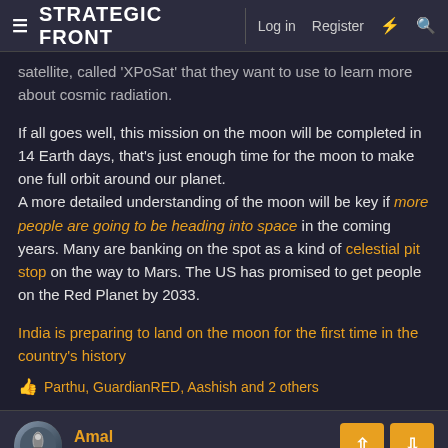≡ STRATEGIC FRONT  |  Log in  Register
satellite, called 'XPoSat' that they want to use to learn more about cosmic radiation.
If all goes well, this mission on the moon will be completed in 14 Earth days, that's just enough time for the moon to make one full orbit around our planet.
A more detailed understanding of the moon will be key if more people are going to be heading into space in the coming years. Many are banking on the spot as a kind of celestial pit stop on the way to Mars. The US has promised to get people on the Red Planet by 2033.
India is preparing to land on the moon for the first time in the country's history
👍 Parthu, GuardianRED, Aashish and 2 others
Amal  GSLV Mk III